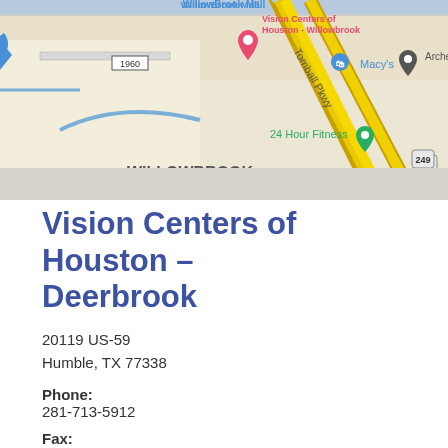[Figure (map): Google Maps screenshot showing Willowbrook area of Houston, TX with roads including Tomball Pkwy, highway 249, route 1960, and landmarks including Willowbrook Mall, Vision Centers of Houston Willowbrook, Macy's, 24 Hour Fitness, and Archer at W. Map shows yellow highway roads on beige background.]
Vision Centers of Houston – Deerbrook
20119 US-59
Humble, TX 77338
Phone:
281-713-5912
Fax:
281-446-3105
Monday:   9:00 AM - 8:00 PM
Tuesday:  9:00 AM - 8:00 PM